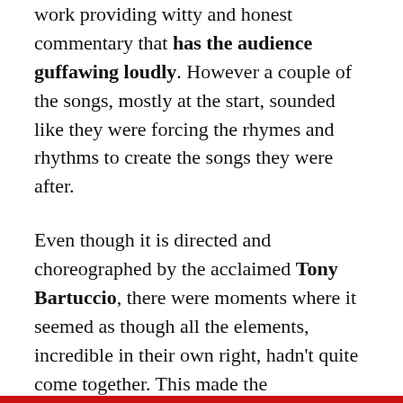work providing witty and honest commentary that has the audience guffawing loudly. However a couple of the songs, mostly at the start, sounded like they were forcing the rhymes and rhythms to create the songs they were after.
Even though it is directed and choreographed by the acclaimed Tony Bartuccio, there were moments where it seemed as though all the elements, incredible in their own right, hadn't quite come together. This made the performance for me a little uneven; some instances that were polished and right on point and others that were good but appeared to lack cohesiveness as though it was indeed a